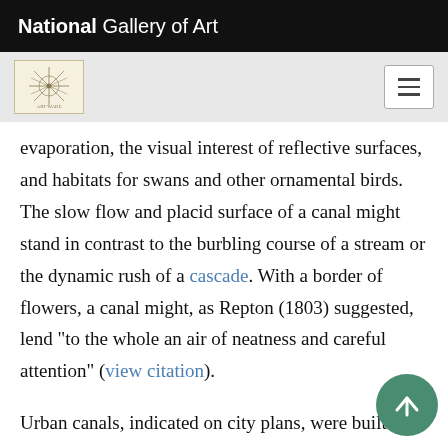National Gallery of Art
[Figure (logo): National Gallery of Art logo — decorative starburst/compass rose on cream background]
evaporation, the visual interest of reflective surfaces, and habitats for swans and other ornamental birds. The slow flow and placid surface of a canal might stand in contrast to the burbling course of a stream or the dynamic rush of a cascade. With a border of flowers, a canal might, as Repton (1803) suggested, lend "to the whole an air of neatness and careful attention" (view citation).
Urban canals, indicated on city plans, were built as commercial transportation routes, but these canals also embraced in efforts to create healthful, recreational areas for city dwellers. Banks along some navigable